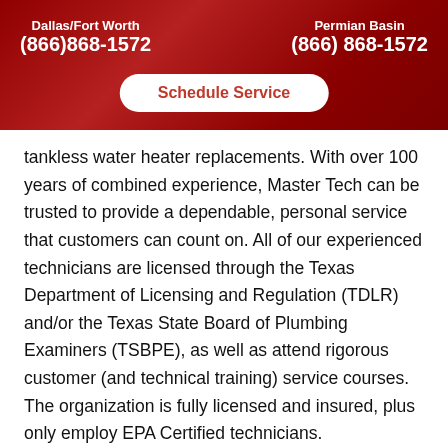Dallas/Fort Worth (866)868-1572 | Permian Basin (866) 868-1572
Schedule Service
tankless water heater replacements. With over 100 years of combined experience, Master Tech can be trusted to provide a dependable, personal service that customers can count on. All of our experienced technicians are licensed through the Texas Department of Licensing and Regulation (TDLR) and/or the Texas State Board of Plumbing Examiners (TSBPE), as well as attend rigorous customer (and technical training) service courses. The organization is fully licensed and insured, plus only employ EPA Certified technicians.
The organization has been a top-3 Finalist in the Dallas Business Journal's Torch Award for Ethics, a 3-time Angie's List Super Service Award winner, a Home A... Top Rated Elite Contractor, an A-Rated Better Busi...